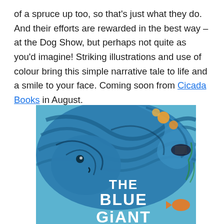of a spruce up too, so that's just what they do. And their efforts are rewarded in the best way – at the Dog Show, but perhaps not quite as you'd imagine! Striking illustrations and use of colour bring this simple narrative tale to life and a smile to your face. Coming soon from Cicada Books in August.
[Figure (illustration): Book cover of 'The Blue Giant' from Cicada Books. Features a swirling blue illustrated ocean wave creature with fish and marine life, with white text reading 'THE BLUE GIANT' on a light blue background.]